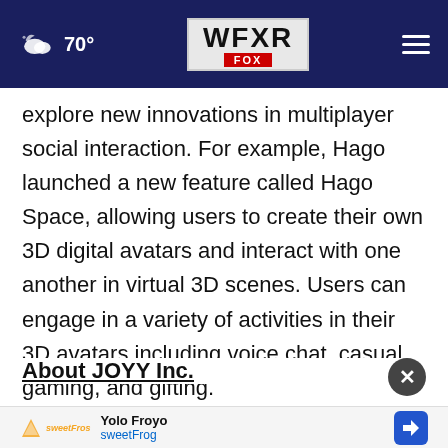70° WFXR FOX
explore new innovations in multiplayer social interaction. For example, Hago launched a new feature called Hago Space, allowing users to create their own 3D digital avatars and interact with one another in virtual 3D scenes. Users can engage in a variety of activities in their 3D avatars including voice chat, casual gaming, and gifting.
About JOYY Inc.
[Figure (other): Close/dismiss button (dark circle with X)]
[Figure (other): Advertisement banner: Yolo Froyo sweetFrog with logo and navigation icon]
JOYY ...any